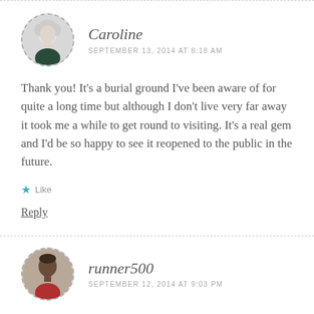Caroline
SEPTEMBER 13, 2014 AT 8:18 AM
Thank you! It's a burial ground I've been aware of for quite a long time but although I don't live very far away it took me a while to get round to visiting. It's a real gem and I'd be so happy to see it reopened to the public in the future.
Like
Reply
runner500
SEPTEMBER 12, 2014 AT 9:03 PM